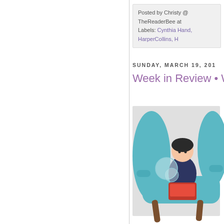Posted by Christy @ TheReaderBee at
Labels: Cynthia Hand, HarperCollins, H
SUNDAY, MARCH 19, 201
Week in Review • W
[Figure (illustration): Flat illustration of a person sitting in a teal/blue armchair reading or using a laptop, with a light grey background square behind them. Brown armchair legs visible. Person has dark hair.]